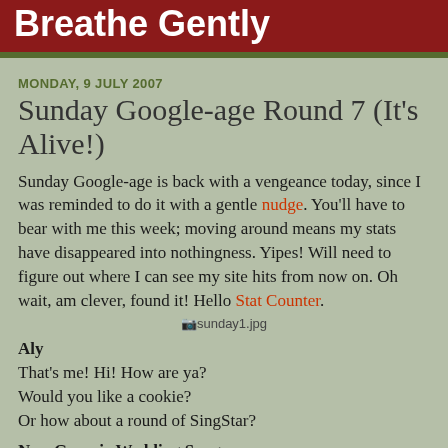Breathe Gently
MONDAY, 9 JULY 2007
Sunday Google-age Round 7 (It's Alive!)
Sunday Google-age is back with a vengeance today, since I was reminded to do it with a gentle nudge. You'll have to bear with me this week; moving around means my stats have disappeared into nothingness. Yipes! Will need to figure out where I can see my site hits from now on. Oh wait, am clever, found it! Hello Stat Counter.
[Figure (photo): sunday1.jpg image placeholder]
Aly
That's me! Hi! How are ya?
Would you like a cookie?
Or how about a round of SingStar?
Non-Generic Wedding Songs